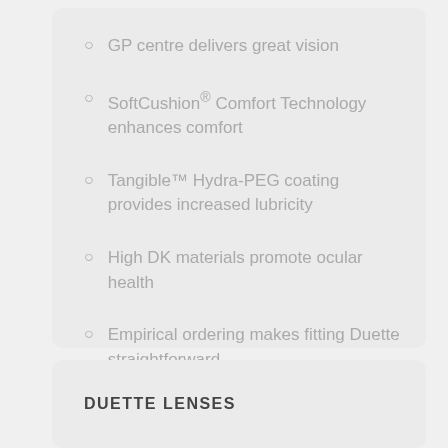GP centre delivers great vision
SoftCushion® Comfort Technology enhances comfort
Tangible™ Hydra-PEG coating provides increased lubricity
High DK materials promote ocular health
Empirical ordering makes fitting Duette straightforward
DUETTE LENSES